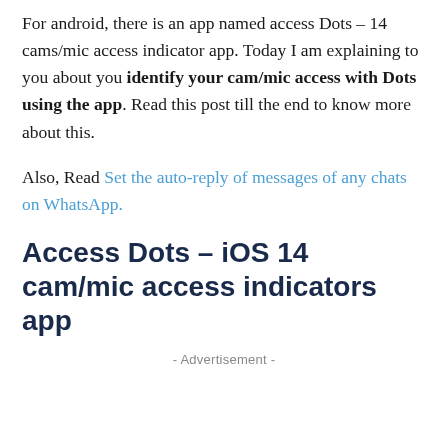For android, there is an app named access Dots – 14 cams/mic access indicator app. Today I am explaining to you about you identify your cam/mic access with Dots using the app. Read this post till the end to know more about this.
Also, Read Set the auto-reply of messages of any chats on WhatsApp.
Access Dots – iOS 14 cam/mic access indicators app
- Advertisement -